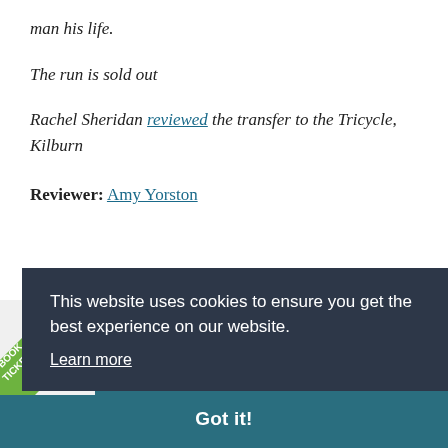man his life.
The run is sold out
Rachel Sheridan reviewed the transfer to the Tricycle, Kilburn
Reviewer: Amy Yorston
This website uses cookies to ensure you get the best experience on our website. Learn more
Got it!